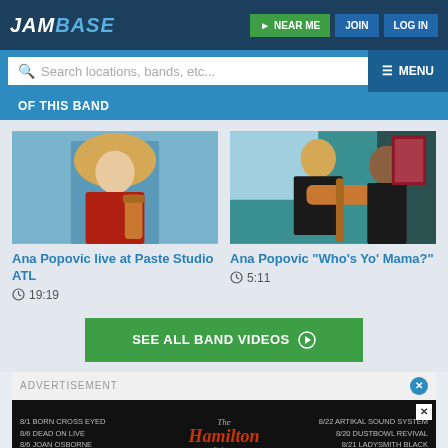JAMBASE
NEAR ME | JOIN | LOG IN
Search locations, bands, etc... MENU
OF THIS BAND
[Figure (photo): Photo of Ana Popovic with guitar, live at Paste Studio ATL]
Ana Popovic live at Paste Studio ATL
19:19
[Figure (photo): Photo of Ana Popovic playing guitar with another musician, Who's Yo Mama]
Ana Popovic "Who's Yo' Mama?"
5:11
SEE ALL BAND VIDEOS
ADVERTISEMENT
8/1 BORN CROSS EYED 8/6 DEAD ON LIVE 8/6 JOAN OSBORNE 8/7 ENGLISHTOWN PROJECT  |  The Hamilton Live  |  8/22 ARTIKAL SOUND SYSTEM 8/20 DUSTBOWL REVIVAL 8/21 LADYSMITH BLACK MAMBAZO